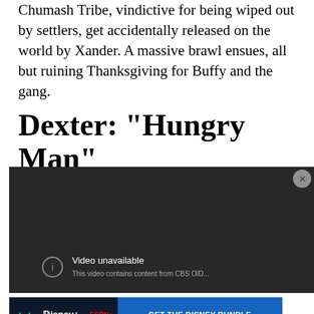Chumash Tribe, vindictive for being wiped out by settlers, get accidentally released on the world by Xander. A massive brawl ensues, all but ruining Thanksgiving for Buffy and the gang.
Dexter: "Hungry Man"
[Figure (screenshot): Embedded video player showing 'Video unavailable' message on dark background. Partial text reads: 'This video contains content from CBS OlD...' with a close button in top right corner.]
[Figure (other): Advertisement banner for Disney Bundle featuring Hulu, Disney+, and ESPN+ logos with 'GET THE DISNEY BUNDLE' call to action in blue. Fine print: 'Incl. Hulu (ad-supported) or Hulu (No Ads). Access content from each service separately. ©2021 Disney and its related entities']